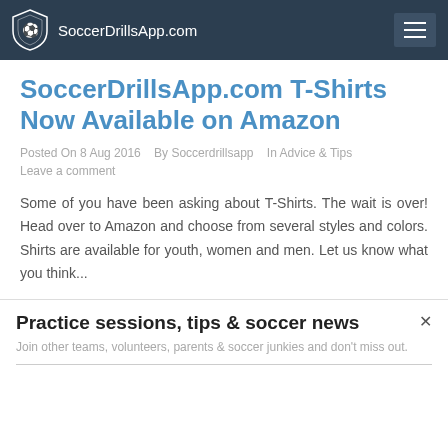SoccerDrillsApp.com
SoccerDrillsApp.com T-Shirts Now Available on Amazon
Posted On 8 Aug 2016   By Soccerdrillsapp   In Advice & Tips
Leave a comment
Some of you have been asking about T-Shirts. The wait is over! Head over to Amazon and choose from several styles and colors. Shirts are available for youth, women and men. Let us know what you think...
Practice sessions, tips & soccer news
Join other teams, volunteers, parents & soccer junkies and don't miss out.